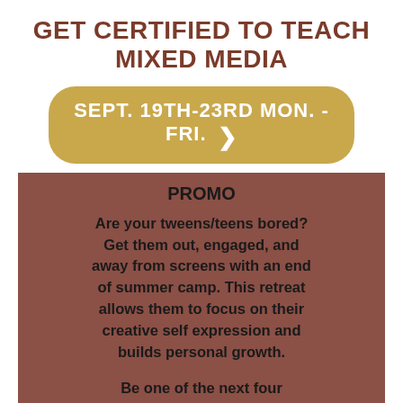GET CERTIFIED TO TEACH MIXED MEDIA
SEPT. 19TH-23RD MON. - FRI.
PROMO
Are your tweens/teens bored? Get them out, engaged, and away from screens with an end of summer camp. This retreat allows them to focus on their creative self expression and builds personal growth.
Be one of the next four customers to book an art camp and SAVE 20% !!!! Use coupon SAVE20 - book online or contact us to secure your spot!
SIGN UP HERE: